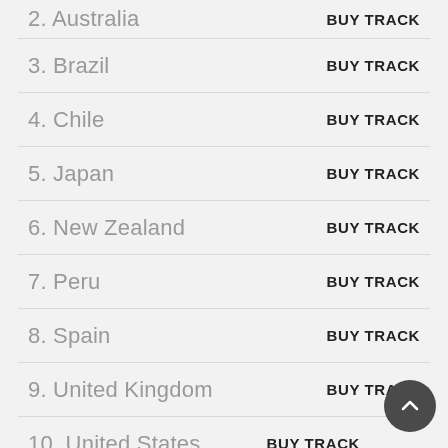2. Australia  BUY TRACK
3. Brazil  BUY TRACK
4. Chile  BUY TRACK
5. Japan  BUY TRACK
6. New Zealand  BUY TRACK
7. Peru  BUY TRACK
8. Spain  BUY TRACK
9. United Kingdom  BUY TRACK
10. United States  BUY TRACK